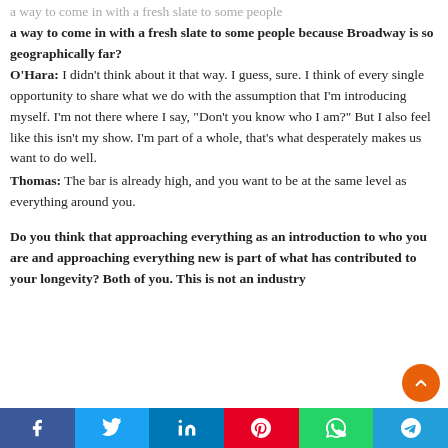a way to come in with a fresh slate to some people because Broadway is so geographically far?
O'Hara: I didn't think about it that way. I guess, sure. I think of every single opportunity to share what we do with the assumption that I'm introducing myself. I'm not there where I say, “Don’t you know who I am?” But I also feel like this isn’t my show. I’m part of a whole, that's what desperately makes us want to do well.
Thomas: The bar is already high, and you want to be at the same level as everything around you.
Do you think that approaching everything as an introduction to who you are and approaching everything new is part of what has contributed to your longevity? Both of you. This is not an industry
Facebook Twitter LinkedIn Pinterest WhatsApp Telegram